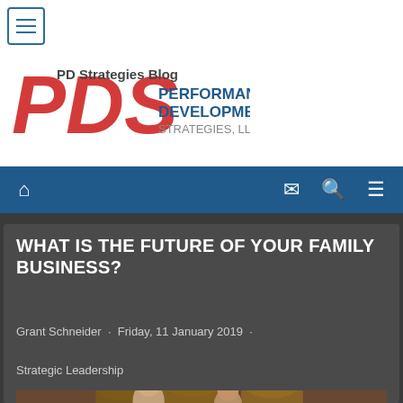[Figure (logo): PDS Performance Development Strategies logo — large red and white 'PDS' letters with wave graphic, italic bold, plus 'PERFORMANCE DEVELOPMENT' text in blue on right]
PD Strategies Blog
Performance Development Strategies Blog is the one convenient place to get timely and purposeful articles on the issues that concern you most.
Navigation bar with home, mail, search, and menu icons
WHAT IS THE FUTURE OF YOUR FAMILY BUSINESS?
Grant Schneider · Friday, 11 January 2019
Strategic Leadership
[Figure (photo): Photo of two people (older and younger man) in a winery cellar with wooden barrels and stone walls in the background]